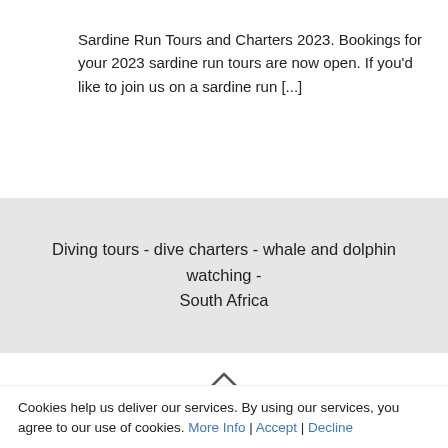Sardine Run Tours and Charters 2023. Bookings for your 2023 sardine run tours are now open. If you'd like to join us on a sardine run [...]
Diving tours - dive charters - whale and dolphin watching - South Africa
[Figure (other): Up caret / chevron icon indicating scroll to top]
2019 Oceans Africa Diving Adventures cc
Cookies help us deliver our services. By using our services, you agree to our use of cookies. More Info | Accept | Decline